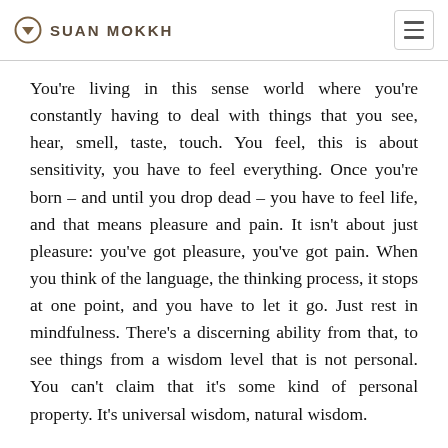SUAN MOKKH
You're living in this sense world where you're constantly having to deal with things that you see, hear, smell, taste, touch. You feel, this is about sensitivity, you have to feel everything. Once you're born – and until you drop dead – you have to feel life, and that means pleasure and pain. It isn't about just pleasure: you've got pleasure, you've got pain. When you think of the language, the thinking process, it stops at one point, and you have to let it go. Just rest in mindfulness. There's a discerning ability from that, to see things from a wisdom level that is not personal. You can't claim that it's some kind of personal property. It's universal wisdom, natural wisdom.